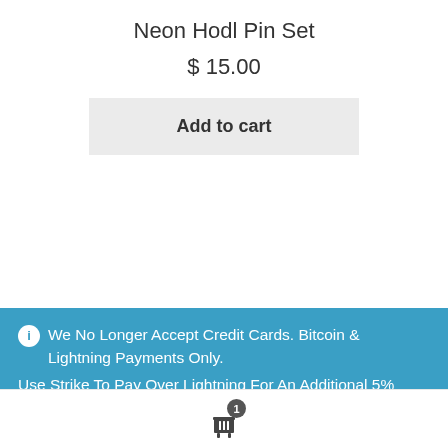Neon Hodl Pin Set
$ 15.00
Add to cart
We No Longer Accept Credit Cards. Bitcoin & Lightning Payments Only.
Use Strike To Pay Over Lightning For An Additional 5% Cash Back.
Dismiss